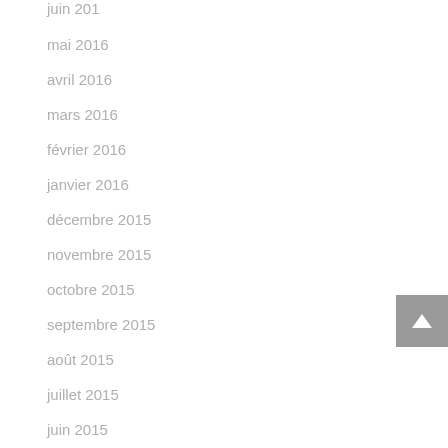juin 2016
mai 2016
avril 2016
mars 2016
février 2016
janvier 2016
décembre 2015
novembre 2015
octobre 2015
septembre 2015
août 2015
juillet 2015
juin 2015
mai 2015
avril 2015